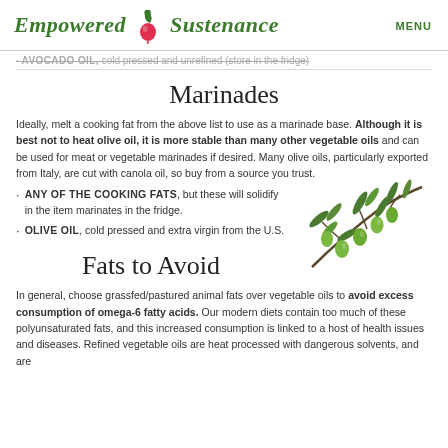Empowered Sustenance   MENU
AVOCADO OIL, cold pressed and unrefined (store in the fridge)
Marinades
Ideally, melt a cooking fat from the above list to use as a marinade base. Although it is best not to heat olive oil, it is more stable than many other vegetable oils and can be used for meat or vegetable marinades if desired. Many olive oils, particularly exported from Italy, are cut with canola oil, so buy from a source you trust.
ANY OF THE COOKING FATS, but these will solidify in the item marinates in the fridge.
OLIVE OIL, cold pressed and extra virgin from the U.S.
[Figure (illustration): Green olives on a branch with leaves]
Fats to Avoid
In general, choose grassfed/pastured animal fats over vegetable oils to avoid excess consumption of omega-6 fatty acids. Our modern diets contain too much of these polyunsaturated fats, and this increased consumption is linked to a host of health issues and diseases. Refined vegetable oils are heat processed with dangerous solvents, and are